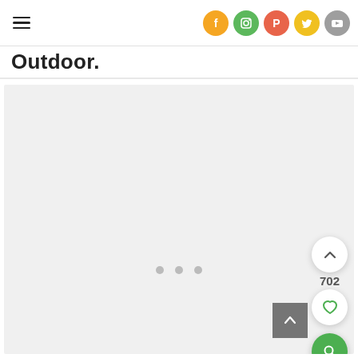Outdoor. [navigation header with hamburger menu and social icons: Facebook, Instagram, Pinterest, Twitter, YouTube]
Outdoor.
[Figure (photo): Large light grey empty image area with three pagination dots in the center-bottom area, serving as a content/image carousel placeholder. Right side has upvote button, 702 vote count, favorite/heart button, and search button. Bottom right has a scroll-to-top grey square button with upward arrow.]